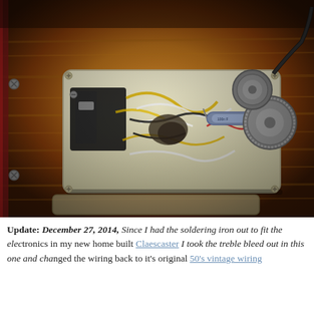[Figure (photo): Close-up photo of a Fender Telecaster guitar body showing the electronics control plate with wiring, pickups, capacitor, and potentiometers on a sunburst wood-grain body.]
Update: December 27, 2014, Since I had the soldering iron out to fit the electronics in my new home built Claescaster I took the treble bleed out in this one and changed the wiring back to it's original 50's vintage wiring